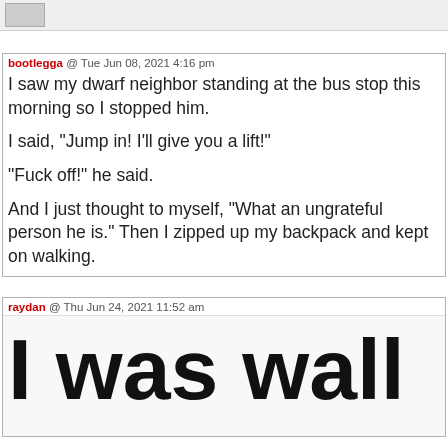[Figure (screenshot): Top image bar with small grey image thumbnail]
bootlegga @ Tue Jun 08, 2021 4:16 pm
I saw my dwarf neighbor standing at the bus stop this morning so I stopped him.

I said, "Jump in! I'll give you a lift!"

"Fuck off!" he said.

And I just thought to myself, "What an ungrateful person he is." Then I zipped up my backpack and kept on walking.
raydan @ Thu Jun 24, 2021 11:52 am
I was wall...